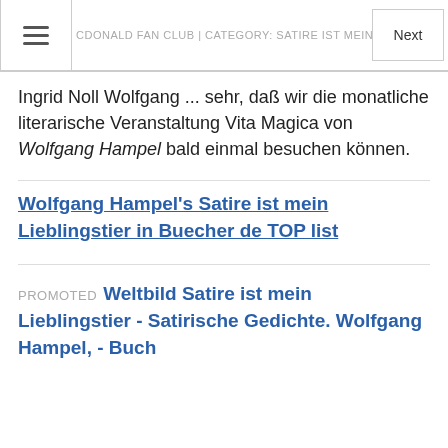MCDONALD FAN CLUB | CATEGORY: SATIRE IST MEIN LIEBLINGSTIER  Next
Ingrid Noll Wolfgang ... sehr, daß wir die monatliche literarische Veranstaltung Vita Magica von Wolfgang Hampel bald einmal besuchen können.
Wolfgang Hampel's Satire ist mein Lieblingstier in Buecher de TOP list
PROMOTED Weltbild Satire ist mein Lieblingstier - Satirische Gedichte. Wolfgang Hampel, - Buch